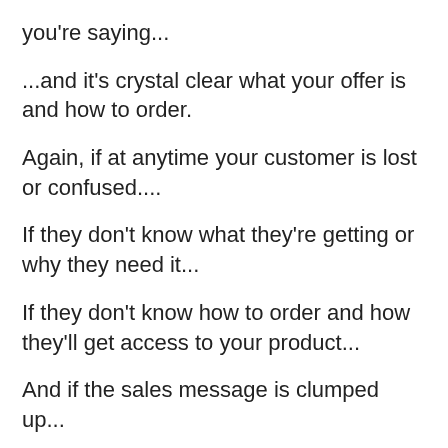you're saying...
...and it's crystal clear what your offer is and how to order.
Again, if at anytime your customer is lost or confused....
If they don't know what they're getting or why they need it...
If they don't know how to order and how they'll get access to your product...
And if the sales message is clumped up...
Hard to read...